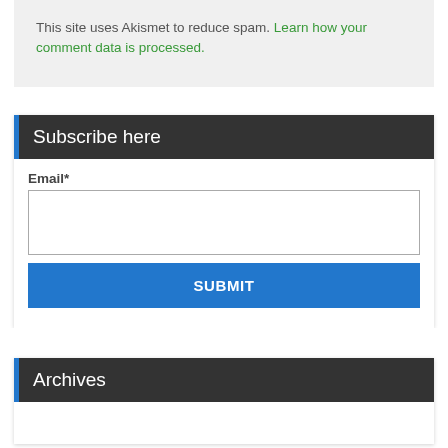This site uses Akismet to reduce spam. Learn how your comment data is processed.
Subscribe here
Email*
SUBMIT
Archives